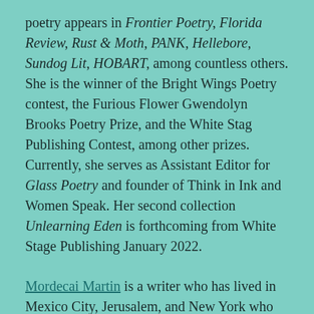poetry appears in Frontier Poetry, Florida Review, Rust & Moth, PANK, Hellebore, Sundog Lit, HOBART, among countless others. She is the winner of the Bright Wings Poetry contest, the Furious Flower Gwendolyn Brooks Poetry Prize, and the White Stag Publishing Contest, among other prizes. Currently, she serves as Assistant Editor for Glass Poetry and founder of Think in Ink and Women Speak. Her second collection Unlearning Eden is forthcoming from White Stage Publishing January 2022.
Mordecai Martin is a writer who has lived in Mexico City, Jerusalem, and New York who currently resides in Philadelphia with his wife and an orange cat. He conducts interviews for the Poetry Question and his work has appeared in Gone Lawn, X-Ray and Funicular. He's got plans, oh yes. Has he got plans.